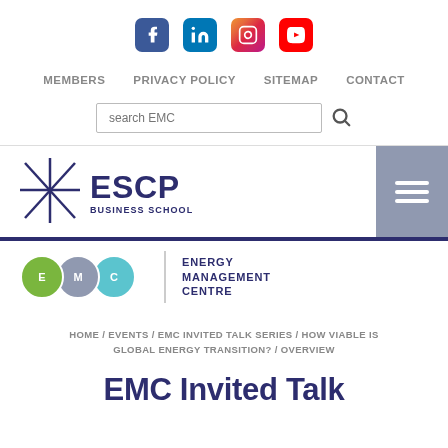[Figure (logo): Social media icons: Facebook (blue), LinkedIn (blue), Instagram (gradient), YouTube (red)]
MEMBERS   PRIVACY POLICY   SITEMAP   CONTACT
search EMC
[Figure (logo): ESCP Business School logo with asterisk/star mark and hamburger menu button]
[Figure (logo): EMC - Energy Management Centre logo with colored circles]
HOME / EVENTS / EMC INVITED TALK SERIES / HOW VIABLE IS GLOBAL ENERGY TRANSITION? / OVERVIEW
EMC Invited Talk